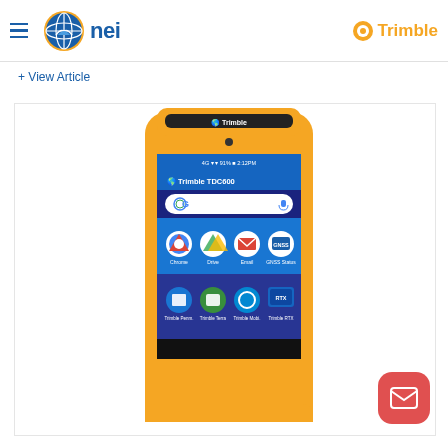nei | Trimble
+ View Article
[Figure (photo): Trimble TDC600 rugged Android handheld controller/data collector with yellow protective casing, showing the Trimble TDC600 home screen with Google search bar and various app icons including Chrome, Drive, Email, GNSS Status, Trimble Penmap, Trimble Terra, Trimble Mobile, and Trimble RTX]
[Figure (other): Red rounded square mail/email button in bottom right corner]